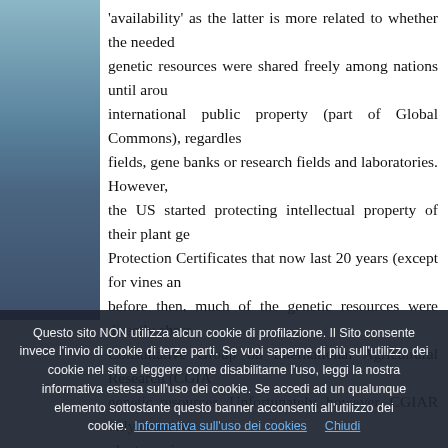'availability' as the latter is more related to whether the needed genetic resources were shared freely among nations until around international public property (part of Global Commons), regardless fields, gene banks or research fields and laboratories. However, the US started protecting intellectual property of their plant ge Protection Certificates that now last 20 years (except for vines an before then, much of the genetic resources were directly share Consultative Group on International Agricultural Research (CGIA genetic resources. Unfortunately, however, CGIAR only conserve plant species.

Many factors now limit access to genetic resources, among intellectual property related to plants products and services, bot has created in many cases the problem of over-protection, seve
Questo sito NON utilizza alcun cookie di profilazione. Il Sito consente invece l'invio di cookie di terze parti. Se vuoi saperne di più sull'utilizzo dei cookie nel sito e leggere come disabilitarne l'uso, leggi la nostra informativa estesa sull'uso dei cookie. Se accedi ad un qualunque elemento sottostante questo banner acconsenti all'utilizzo dei cookie.